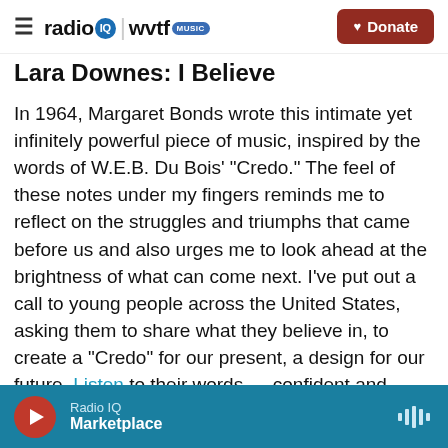radio IQ | wvtf MUSIC  [Donate button]
Lara Downes: I Believe
In 1964, Margaret Bonds wrote this intimate yet infinitely powerful piece of music, inspired by the words of W.E.B. Du Bois' "Credo." The feel of these notes under my fingers reminds me to reflect on the struggles and triumphs that came before us and also urges me to look ahead at the brightness of what can come next. I've put out a call to young people across the United States, asking them to share what they believe in, to create a "Credo" for our present, a design for our future. Listen to their words — confident and deep in conviction — and
Radio IQ  Marketplace